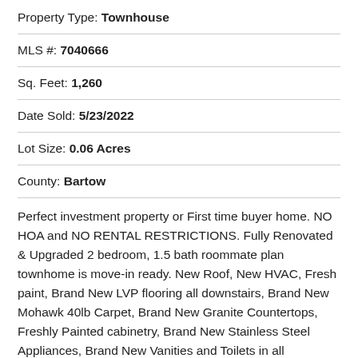Property Type: Townhouse
MLS #: 7040666
Sq. Feet: 1,260
Date Sold: 5/23/2022
Lot Size: 0.06 Acres
County: Bartow
Perfect investment property or First time buyer home. NO HOA and NO RENTAL RESTRICTIONS. Fully Renovated & Upgraded 2 bedroom, 1.5 bath roommate plan townhome is move-in ready. New Roof, New HVAC, Fresh paint, Brand New LVP flooring all downstairs, Brand New Mohawk 40lb Carpet, Brand New Granite Countertops, Freshly Painted cabinetry, Brand New Stainless Steel Appliances, Brand New Vanities and Toilets in all bathrooms and updated lighting and